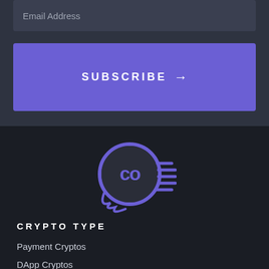Email Address
SUBSCRIBE →
[Figure (logo): Circular cryptocurrency logo with 'co' infinity symbol inside, purple color on dark background with flame/speed lines on the right side]
CRYPTO TYPE
Payment Cryptos
DApp Cryptos